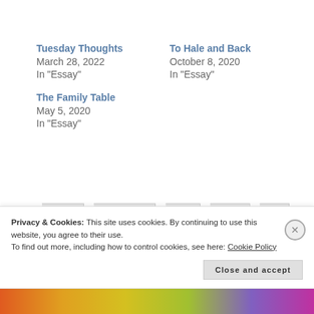Tuesday Thoughts
March 28, 2022
In "Essay"
To Hale and Back
October 8, 2020
In "Essay"
The Family Table
May 5, 2020
In "Essay"
BRIDGE
DEPRESSION
FAITH
FAMILY
GOD
HOPE
ILLNESS
LOVE
MEMORIES
MUSIC
Privacy & Cookies: This site uses cookies. By continuing to use this website, you agree to their use.
To find out more, including how to control cookies, see here: Cookie Policy
Close and accept